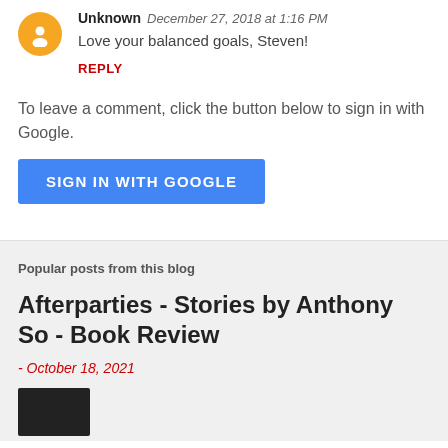Unknown   December 27, 2018 at 1:16 PM
Love your balanced goals, Steven!
REPLY
To leave a comment, click the button below to sign in with Google.
SIGN IN WITH GOOGLE
Popular posts from this blog
Afterparties - Stories by Anthony So - Book Review
- October 18, 2021